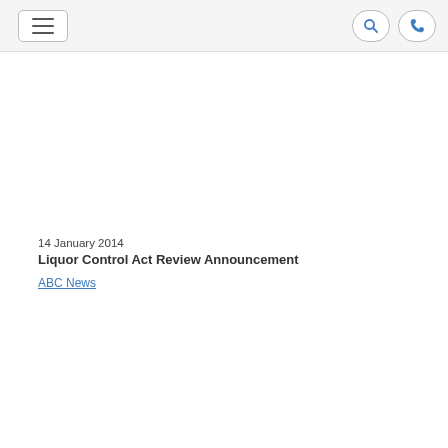[navigation bar with menu, search, and phone icons]
14 January 2014
Liquor Control Act Review Announcement
ABC News